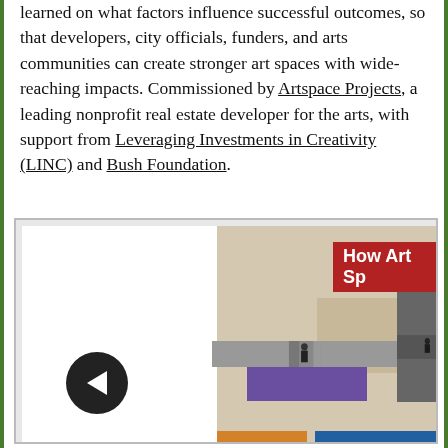learned on what factors influence successful outcomes, so that developers, city officials, funders, and arts communities can create stronger art spaces with wide-reaching impacts. Commissioned by Artspace Projects, a leading nonprofit real estate developer for the arts, with support from Leveraging Investments in Creativity (LINC) and Bush Foundation.
[Figure (screenshot): Screenshot of a webpage showing a book or report cover collage with title 'How Art Sp[aces...]', colorful geometric shapes (red, purple, tan, orange, blue, yellow), photos of people in art spaces, and a navigation back button (black circle with left arrow).]